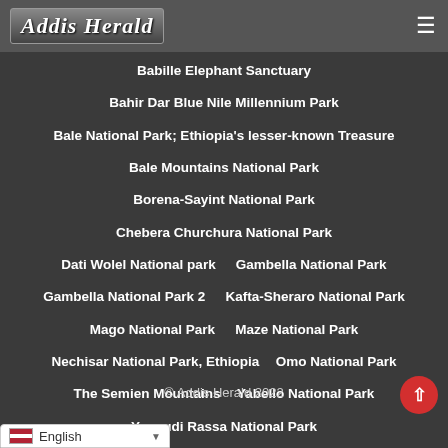Addis Herald
Babille Elephant Sanctuary
Bahir Dar Blue Nile Millennium Park
Bale National Park; Ethiopia's lesser-known Treasure
Bale Mountains National Park
Borena-Sayint National Park
Chebera Churchura National Park
Dati Wolel National park
Gambella National Park
Gambella National Park 2
Kafta-Sheraro National Park
Mago National Park
Maze National Park
Nechisar National Park, Ethiopia
Omo National Park
The Semien Mountains
Yabello National Park
Yangudi Rassa National Park
© Addis Herald 2022